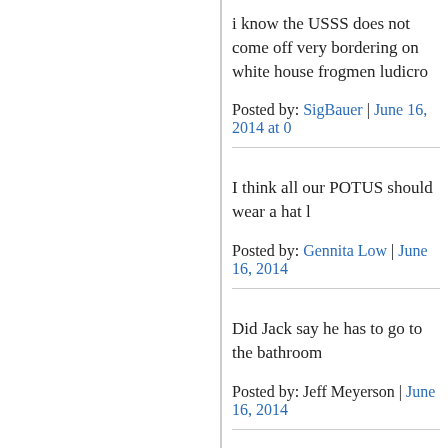i know the USSS does not come off very bordering on white house frogmen ludicro
Posted by: SigBauer | June 16, 2014 at 0
I think all our POTUS should wear a hat l
Posted by: Gennita Low | June 16, 2014
Did Jack say he has to go to the bathroom
Posted by: Jeff Meyerson | June 16, 2014
JackPunch!
Posted by: Blogchik | June 16, 2014 at 09
Gee, Jack! Golly, gosh...